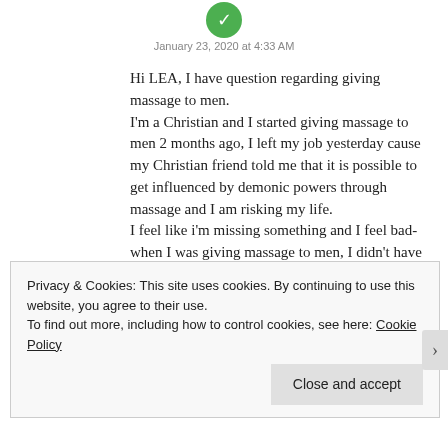[Figure (illustration): Small circular green avatar/icon at the top center of the page]
January 23, 2020 at 4:33 AM
Hi LEA, I have question regarding giving massage to men.
I'm a Christian and I started giving massage to men 2 months ago, I left my job yesterday cause my Christian friend told me that it is possible to get influenced by demonic powers through massage and I am risking my life.
I feel like i'm missing something and I feel bad- when I was giving massage to men, I didn't have any temptation or I was not thinking sexually about my clients. They were asking me to do
Privacy & Cookies: This site uses cookies. By continuing to use this website, you agree to their use.
To find out more, including how to control cookies, see here: Cookie Policy
Close and accept